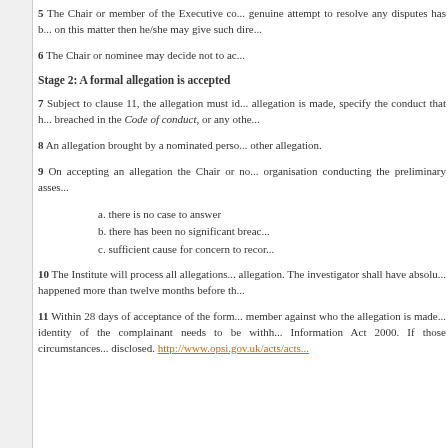5 The Chair or member of the Executive co... genuine attempt to resolve any disputes has b... on this matter then he/she may give such dire...
6 The Chair or nominee may decide not to ac...
Stage 2: A formal allegation is accepted
7 Subject to clause 11, the allegation must id... allegation is made, specify the conduct that h... breached in the Code of conduct, or any othe...
8 An allegation brought by a nominated perso... other allegation.
9 On accepting an allegation the Chair or no... organisation conducting the preliminary asses...
a. there is no case to answer
b. there has been no significant breac...
c. sufficient cause for concern to recor...
10 The Institute will process all allegations... allegation. The investigator shall have absolu... happened more than twelve months before th...
11 Within 28 days of acceptance of the form... member against who the allegation is made... identity of the complainant needs to be withh... Information Act 2000. If those circumstances... disclosed. http://www.opsi.gov.uk/acts/acts...